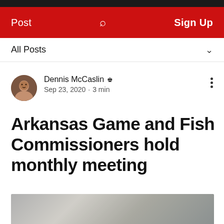Post  Sign Up
All Posts
Dennis McCaslin  Sep 23, 2020 · 3 min
Arkansas Game and Fish Commissioners hold monthly meeting
[Figure (photo): Blurred/out-of-focus outdoor photo, likely of a meeting or outdoor scene, gray-brown tones]